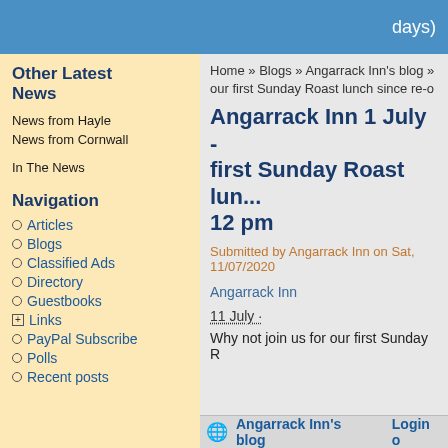days)
Other Latest News
News from Hayle
News from Cornwall
In The News
Navigation
Articles
Blogs
Classified Ads
Directory
Guestbooks
Links
PayPal Subscribe
Polls
Recent posts
Home » Blogs » Angarrack Inn's blog » our first Sunday Roast lunch since re-o
Angarrack Inn 1 July - first Sunday Roast lun... 12 pm
Submitted by Angarrack Inn on Sat, 11/07/2020
Angarrack Inn
11 July ·
Why not join us for our first Sunday R…
Angarrack Inn's blog    Login o